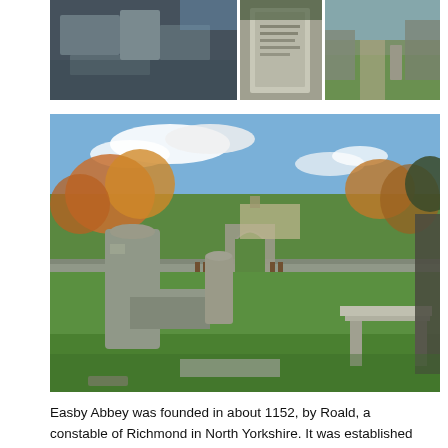[Figure (photo): Strip of three photographs at top: left shows stone ruins/wall detail, center shows a gravestone or memorial plaque, right shows a grassy area with ruins and pathway]
[Figure (photo): Large photograph of Easby Abbey grounds showing graveyard with stone monuments and table tombs in foreground, a ruined Gothic arch gateway in the middle ground, green lawn, trees in autumn colours, and a building in the background under a blue sky with white clouds]
Easby Abbey was founded in about 1152, by Roald, a constable of Richmond in North Yorkshire.  It was established as a